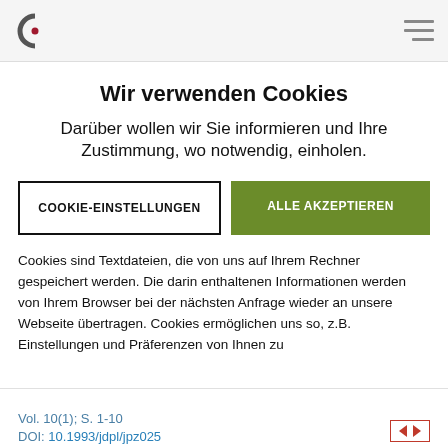Wir verwenden Cookies
Darüber wollen wir Sie informieren und Ihre Zustimmung, wo notwendig, einholen.
COOKIE-EINSTELLUNGEN
ALLE AKZEPTIEREN
Cookies sind Textdateien, die von uns auf Ihrem Rechner gespeichert werden. Die darin enthaltenen Informationen werden von Ihrem Browser bei der nächsten Anfrage wieder an unsere Webseite übertragen. Cookies ermöglichen uns so, z.B. Einstellungen und Präferenzen von Ihnen zu
Vol. 10(1); S. 1-10
DOI: 10.1993/jdpl/jpz025